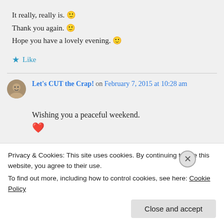It really, really is. 🙂
Thank you again. 🙂
Hope you have a lovely evening. 🙂
★ Like
Let's CUT the Crap! on February 7, 2015 at 10:28 am
Wishing you a peaceful weekend.
❤
Privacy & Cookies: This site uses cookies. By continuing to use this website, you agree to their use.
To find out more, including how to control cookies, see here: Cookie Policy
Close and accept